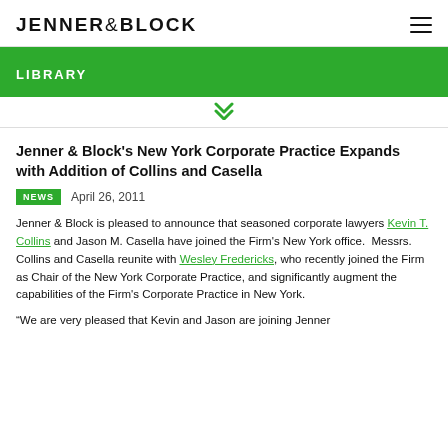JENNER & BLOCK
LIBRARY
Jenner & Block's New York Corporate Practice Expands with Addition of Collins and Casella
NEWS   April 26, 2011
Jenner & Block is pleased to announce that seasoned corporate lawyers Kevin T. Collins and Jason M. Casella have joined the Firm's New York office.  Messrs. Collins and Casella reunite with Wesley Fredericks, who recently joined the Firm as Chair of the New York Corporate Practice, and significantly augment the capabilities of the Firm's Corporate Practice in New York.
“We are very pleased that Kevin and Jason are joining Jenner